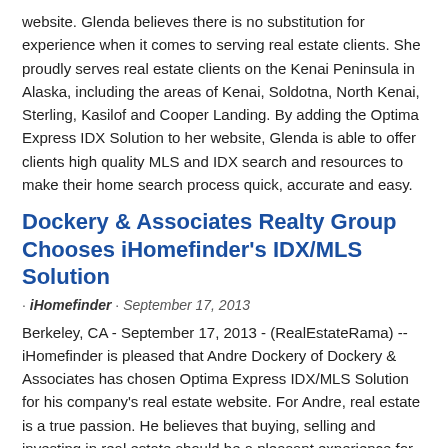website. Glenda believes there is no substitution for experience when it comes to serving real estate clients. She proudly serves real estate clients on the Kenai Peninsula in Alaska, including the areas of Kenai, Soldotna, North Kenai, Sterling, Kasilof and Cooper Landing. By adding the Optima Express IDX Solution to her website, Glenda is able to offer clients high quality MLS and IDX search and resources to make their home search process quick, accurate and easy.
Dockery & Associates Realty Group Chooses iHomefinder's IDX/MLS Solution
- iHomefinder - September 17, 2013
Berkeley, CA - September 17, 2013 - (RealEstateRama) -- iHomefinder is pleased that Andre Dockery of Dockery & Associates has chosen Optima Express IDX/MLS Solution for his company's real estate website. For Andre, real estate is a true passion. He believes that buying, selling and investing in real estate should be a pleasant experience for all parties involved. Andre serves real estate clients in the Greater Charlotte Metropolitan area in North Carolina. He specializes in a variety of communities including Advance, Badin Lake, Fort Mill, Great Falls and Huntersville.